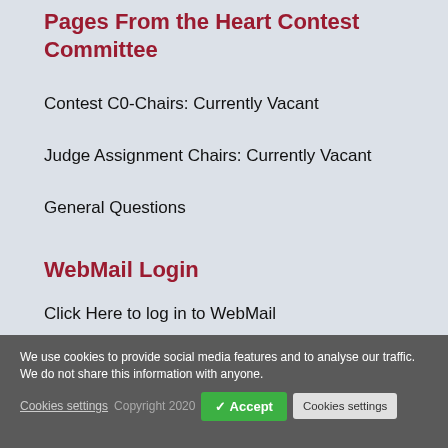Pages From the Heart Contest Committee
Contest C0-Chairs: Currently Vacant
Judge Assignment Chairs: Currently Vacant
General Questions
WebMail Login
Click Here to log in to WebMail
We use cookies to provide social media features and to analyse our traffic. We do not share this information with anyone.
Cookies settings   Copyright 2020   ✓ Accept   Cookies settings